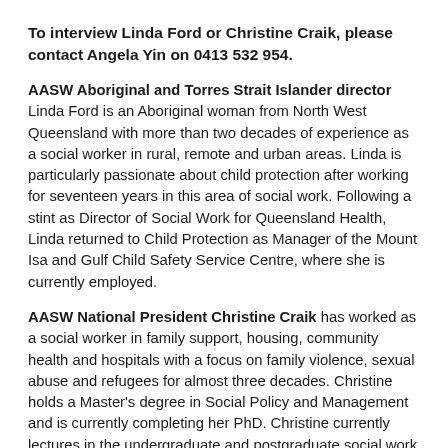To interview Linda Ford or Christine Craik, please contact Angela Yin on 0413 532 954.
AASW Aboriginal and Torres Strait Islander director Linda Ford is an Aboriginal woman from North West Queensland with more than two decades of experience as a social worker in rural, remote and urban areas. Linda is particularly passionate about child protection after working for seventeen years in this area of social work. Following a stint as Director of Social Work for Queensland Health, Linda returned to Child Protection as Manager of the Mount Isa and Gulf Child Safety Service Centre, where she is currently employed.
AASW National President Christine Craik has worked as a social worker in family support, housing, community health and hospitals with a focus on family violence, sexual abuse and refugees for almost three decades. Christine holds a Master's degree in Social Policy and Management and is currently completing her PhD. Christine currently lectures in the undergraduate and postgraduate social work degrees at RMIT University.
Media contact
Angela Yin
Marketing and Communications Officer